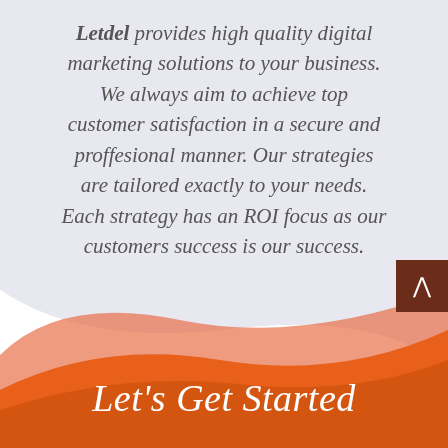Letdel provides high quality digital marketing solutions to your business. We always aim to achieve top customer satisfaction in a secure and proffesional manner. Our strategies are tailored exactly to your needs. Each strategy has an ROI focus as our customers success is our success.
Let's Get Started